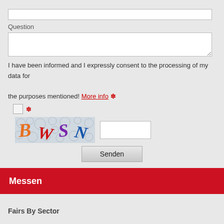Question
I have been informed and I expressly consent to the processing of my data for the purposes mentioned! More info *
[Figure (screenshot): CAPTCHA image with letters B, W, S, N on bubble background]
Senden
Messen
Fairs By Sector